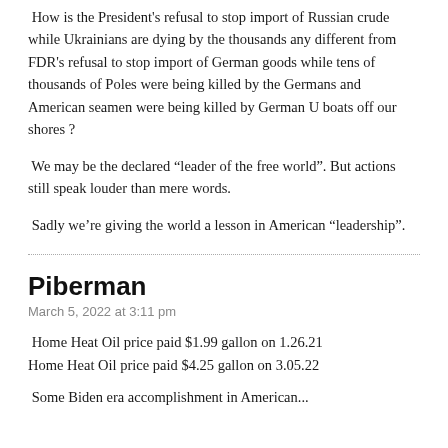How is the President's refusal to stop import of Russian crude while Ukrainians are dying by the thousands any different from FDR's refusal to stop import of German goods while tens of thousands of Poles were being killed by the Germans and American seamen were being killed by German U boats off our shores ?
We may be the declared “leader of the free world”. But actions still speak louder than mere words.
Sadly we’re giving the world a lesson in American “leadership”.
Piberman
March 5, 2022 at 3:11 pm
Home Heat Oil price paid $1.99 gallon on 1.26.21
Home Heat Oil price paid $4.25 gallon on 3.05.22
Some Biden era accomplishment in American...